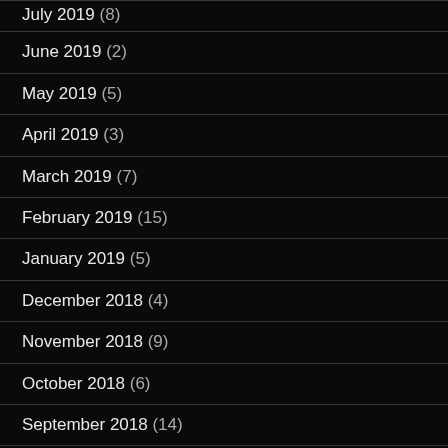July 2019 (8)
June 2019 (2)
May 2019 (5)
April 2019 (3)
March 2019 (7)
February 2019 (15)
January 2019 (5)
December 2018 (4)
November 2018 (9)
October 2018 (6)
September 2018 (14)
August 2018 (2)
July 2018 (7)